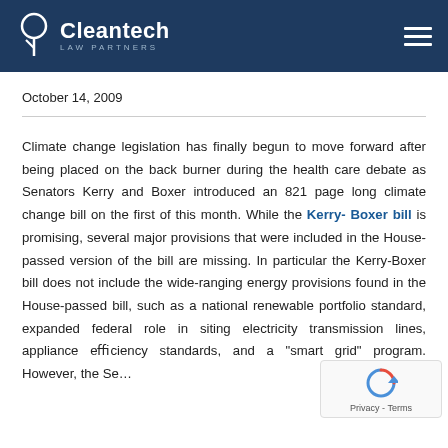Cleantech Law Partners
October 14, 2009
Climate change legislation has finally begun to move forward after being placed on the back burner during the health care debate as Senators Kerry and Boxer introduced an 821 page long climate change bill on the first of this month. While the Kerry-Boxer bill is promising, several major provisions that were included in the House-passed version of the bill are missing. In particular the Kerry-Boxer bill does not include the wide-ranging energy provisions found in the House-passed bill, such as a national renewable portfolio standard, expanded federal role in siting electricity transmission lines, appliance efficiency standards, and a "smart grid" program. However, the Se...